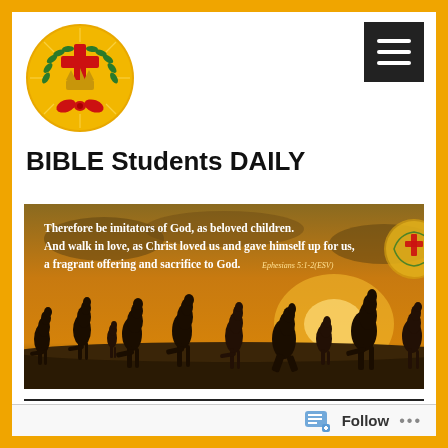[Figure (logo): Bible Students Daily logo: gold circle background with green laurel wreath, red cross, crown, and red bow ribbon]
[Figure (other): Dark square menu/hamburger button with three white horizontal lines]
BIBLE Students DAILY
[Figure (photo): Sunset photo of kangaroo silhouettes in field with Bible verse text overlay: 'Therefore be imitators of God, as beloved children. And walk in love, as Christ loved us and gave himself up for us, a fragrant offering and sacrifice to God. Ephesians 5:1-2(ESV)']
TAG: JUSTICE
Follow ...